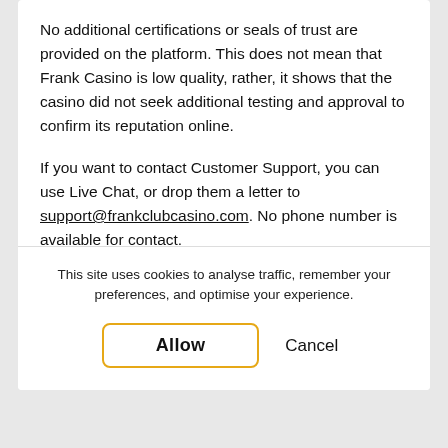No additional certifications or seals of trust are provided on the platform. This does not mean that Frank Casino is low quality, rather, it shows that the casino did not seek additional testing and approval to confirm its reputation online.
If you want to contact Customer Support, you can use Live Chat, or drop them a letter to support@frankclubcasino.com. No phone number is available for contact.
Also, the Dispute Settlement Order for customer complaints if any is not specified on the platform. If
This site uses cookies to analyse traffic, remember your preferences, and optimise your experience.